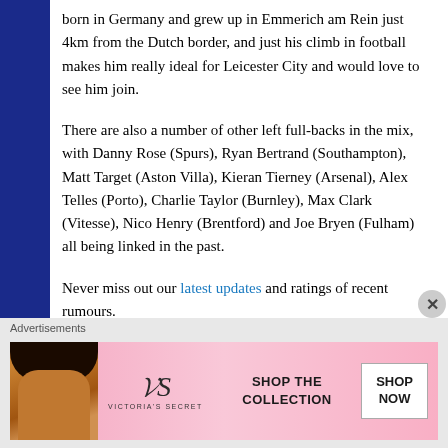born in Germany and grew up in Emmerich am Rein just 4km from the Dutch border, and just his climb in football makes him really ideal for Leicester City and would love to see him join.
There are also a number of other left full-backs in the mix, with Danny Rose (Spurs), Ryan Bertrand (Southampton), Matt Target (Aston Villa), Kieran Tierney (Arsenal), Alex Telles (Porto), Charlie Taylor (Burnley), Max Clark (Vitesse), Nico Henry (Brentford) and Joe Bryen (Fulham) all being linked in the past.
Never miss out our latest updates and ratings of recent rumours.
Advertisements
[Figure (photo): Victoria's Secret advertisement banner with a woman with curly hair, VS logo, 'SHOP THE COLLECTION' text and 'SHOP NOW' button]